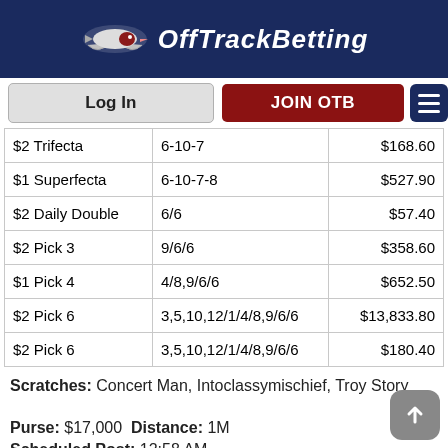OffTrackBetting
| Bet Type | Numbers | Payout |
| --- | --- | --- |
| $2 Trifecta | 6-10-7 | $168.60 |
| $1 Superfecta | 6-10-7-8 | $527.90 |
| $2 Daily Double | 6/6 | $57.40 |
| $2 Pick 3 | 9/6/6 | $358.60 |
| $1 Pick 4 | 4/8,9/6/6 | $652.50 |
| $2 Pick 6 | 3,5,10,12/1/4/8,9/6/6 | $13,833.80 |
| $2 Pick 6 | 3,5,10,12/1/4/8,9/6/6 | $180.40 |
Scratches: Concert Man, Intoclassymischief, Troy Story
Purse: $17,000 Distance: 1M
Scheduled Post: 12:58 AM